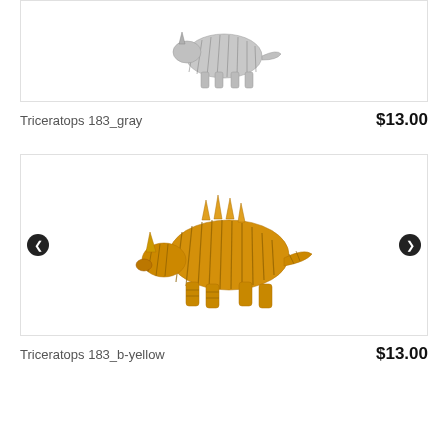[Figure (photo): Gray triceratops dinosaur figurine with striated texture on white background, partially cropped at top]
Triceratops 183_gray
$13.00
[Figure (photo): Gold/yellow triceratops dinosaur figurine with striated texture on white background, with left and right navigation arrows]
Triceratops 183_b-yellow
$13.00